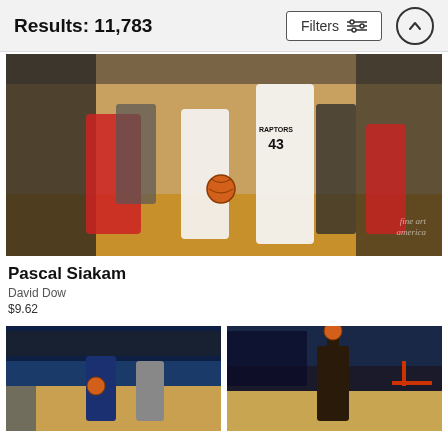Results: 11,783
[Figure (photo): Pascal Siakam wearing Toronto Raptors jersey #43 standing on a basketball court surrounded by players and crowd. Fine Art America watermark visible.]
Pascal Siakam
David Dow
$9.62
[Figure (photo): Basketball game photo showing Utah Jazz player with ball in arena.]
[Figure (photo): Basketball player dunking or reaching up near the basket in arena.]